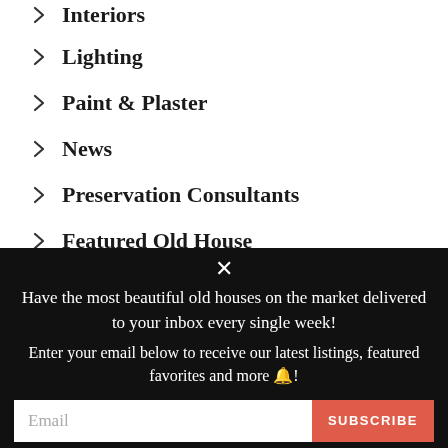Interiors
Lighting
Paint & Plaster
News
Preservation Consultants
Featured Old House
Tile
Have the most beautiful old houses on the market delivered to your inbox every single week!
Enter your email below to receive our latest listings, featured favorites and more 🔔!
Email
SUBSCRIBE